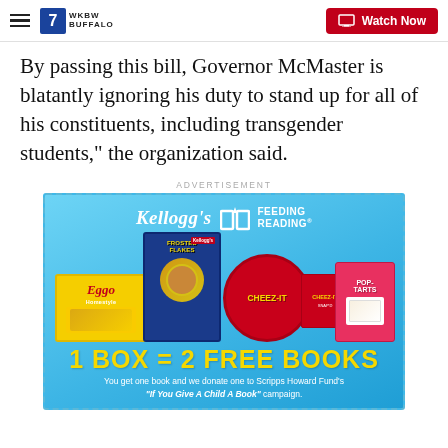7 BUFFALO — Watch Now
By passing this bill, Governor McMaster is blatantly ignoring his duty to stand up for all of his constituents, including transgender students," the organization said.
ADVERTISEMENT
[Figure (photo): Kellogg's Feeding Reading advertisement showing Frosted Flakes, Cheez-It, Eggo, and Pop-Tarts products. Text reads '1 BOX = 2 FREE BOOKS. You get one book and we donate one to Scripps Howard Fund's "If You Give A Child A Book" campaign.']